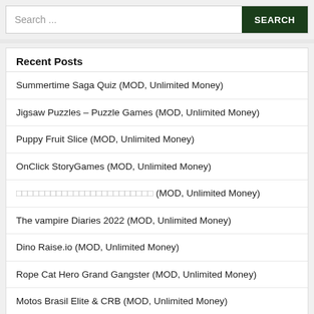Search ...  SEARCH
Recent Posts
Summertime Saga Quiz (MOD, Unlimited Money)
Jigsaw Puzzles – Puzzle Games (MOD, Unlimited Money)
Puppy Fruit Slice (MOD, Unlimited Money)
OnClick StoryGames (MOD, Unlimited Money)
[non-latin text] (MOD, Unlimited Money)
The vampire Diaries 2022 (MOD, Unlimited Money)
Dino Raise.io (MOD, Unlimited Money)
Rope Cat Hero Grand Gangster (MOD, Unlimited Money)
Motos Brasil Elite & CRB (MOD, Unlimited Money)
Sketchy Snowboarding (MOD, Unlimited Money)